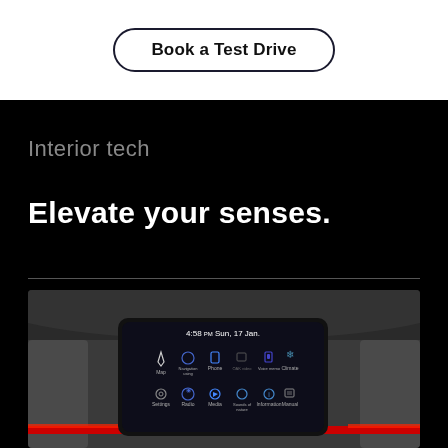Book a Test Drive
Interior tech
Elevate your senses.
[Figure (photo): Car interior infotainment screen showing time 4:58 PM Sun 17 Jan with app icons including Map, Navigation using, Phone, OAK video, Voice memo, Climate, Settings, Radio, Media, Sounds of nature, Information, Manual on a dark dashboard with red ambient lighting strip]